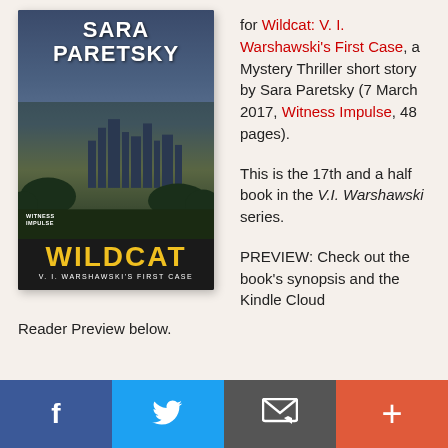[Figure (illustration): Book cover of 'Wildcat: V.I. Warshawski's First Case' by Sara Paretsky, published by Witness Impulse. Dark cityscape background with large white author name at top, gold/yellow WILDCAT title, and subtitle 'V.I. Warshawski's First Case' in white.]
for Wildcat: V. I. Warshawski's First Case, a Mystery Thriller short story by Sara Paretsky (7 March 2017, Witness Impulse, 48 pages).
This is the 17th and a half book in the V.I. Warshawski series.
PREVIEW: Check out the book's synopsis and the Kindle Cloud
Reader Preview below.
[Figure (infographic): Social sharing bar with four buttons: Facebook (blue), Twitter (light blue), Email/envelope (dark gray), and a plus/more button (orange-red).]